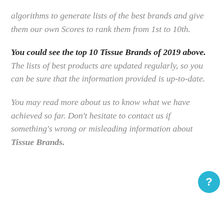algorithms to generate lists of the best brands and give them our own Scores to rank them from 1st to 10th.
You could see the top 10 Tissue Brands of 2019 above. The lists of best products are updated regularly, so you can be sure that the information provided is up-to-date.
You may read more about us to know what we have achieved so far. Don't hesitate to contact us if something's wrong or misleading information about Tissue Brands.